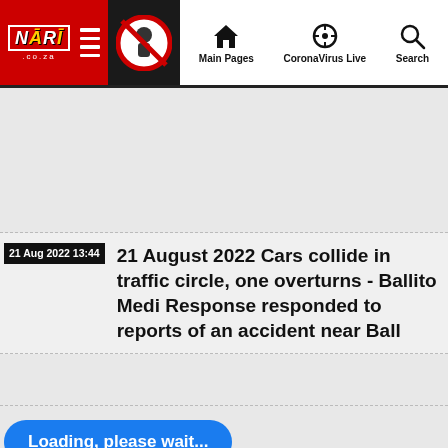NARI .co.za | Main Pages | CoronaVirus Live | Search
[Figure (screenshot): Navigation bar with NARI logo (red background), hamburger menu, no-support icon, and nav links: Main Pages, CoronaVirus Live, Search]
21 Aug 2022 13:44
21 August 2022 Cars collide in traffic circle, one overturns - Ballito Medi Response responded to reports of an accident near Ball
Loading, please wait...